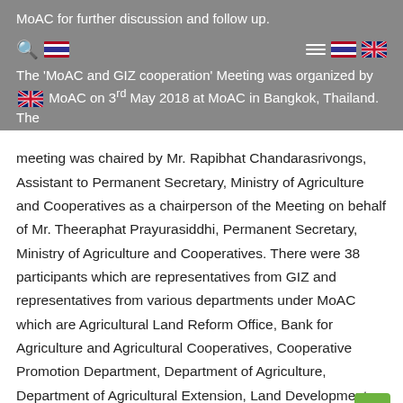MoAC for further discussion and follow up.
The 'MoAC and GIZ cooperation' Meeting was organized by MoAC on 3rd May 2018 at MoAC in Bangkok, Thailand. The meeting was chaired by Mr. Rapibhat Chandarasrivongs, Assistant to Permanent Secretary, Ministry of Agriculture and Cooperatives as a chairperson of the Meeting on behalf of Mr. Theeraphat Prayurasiddhi, Permanent Secretary, Ministry of Agriculture and Cooperatives. There were 38 participants which are representatives from GIZ and representatives from various departments under MoAC which are Agricultural Land Reform Office, Bank for Agriculture and Agricultural Cooperatives, Cooperative Promotion Department, Department of Agriculture, Department of Agricultural Extension, Land Development Department, Office of